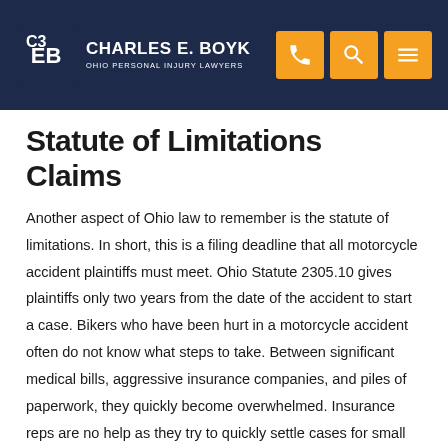Charles E. Boyk — Ohio Personal Injury Lawyers
Statute of Limitations Claims
Another aspect of Ohio law to remember is the statute of limitations. In short, this is a filing deadline that all motorcycle accident plaintiffs must meet. Ohio Statute 2305.10 gives plaintiffs only two years from the date of the accident to start a case. Bikers who have been hurt in a motorcycle accident often do not know what steps to take. Between significant medical bills, aggressive insurance companies, and piles of paperwork, they quickly become overwhelmed. Insurance reps are no help as they try to quickly settle cases for small sums or to deny payment altogether.
Do not take any chances, let a Tiffin motorcycle accident lawyer...